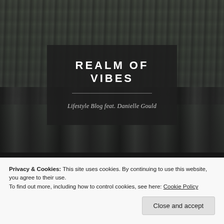[Figure (photo): Aerial black and white landscape photograph showing forests, fields, and industrial or urban structures below. Background for blog header.]
REALM OF VIBES
Lifestyle Blog feat. Danielle Gould
Privacy & Cookies: This site uses cookies. By continuing to use this website, you agree to their use.
To find out more, including how to control cookies, see here: Cookie Policy
Close and accept